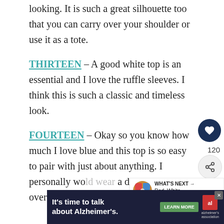looking. It is such a great silhouette too that you can carry over your shoulder or use it as a tote.
THIRTEEN – A good white top is an essential and I love the ruffle sleeves. I think this is such a classic and timeless look.
FOURTEEN – Okay so you know how much I love blue and this top is so easy to pair with just about anything. I personally wo... a denim jacket over it for cooler nights.
[Figure (other): Heart/like button (dark navy circle with white heart icon), like count 120, and share button (light circle with share icon)]
[Figure (other): What's Next panel with small circular image thumbnail and text 'WHAT'S NEXT → Red, White and Blue...']
[Figure (other): Advertisement banner: 'It's time to talk about Alzheimer's.' with LEARN MORE button and Alzheimer's Association logo]